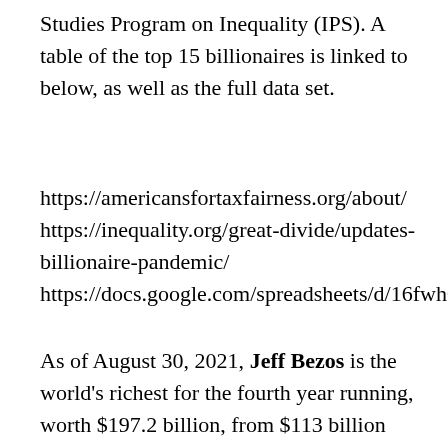Studies Program on Inequality (IPS). A table of the top 15 billionaires is linked to below, as well as the full data set.
https://americansfortaxfairness.org/about/ https://inequality.org/great-divide/updates-billionaire-pandemic/ https://docs.google.com/spreadsheets/d/16fwh0SZQSq1VOjMifjNtxB30MtrgtZTV1miOej2TEjw/edit#gid=1259834744
As of August 30, 2021, Jeff Bezos is the world's richest for the fourth year running, worth $197.2 billion, from $113 billion (March 2020), or a rise